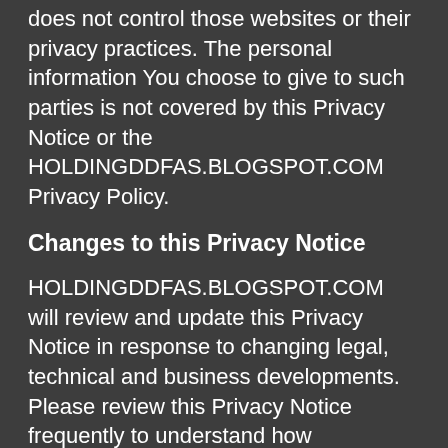does not control those websites or their privacy practices. The personal information You choose to give to such parties is not covered by this Privacy Notice or the HOLDINGDDFAS.BLOGSPOT.COM Privacy Policy.
Changes to this Privacy Notice
HOLDINGDDFAS.BLOGSPOT.COM will review and update this Privacy Notice in response to changing legal, technical and business developments. Please review this Privacy Notice frequently to understand how